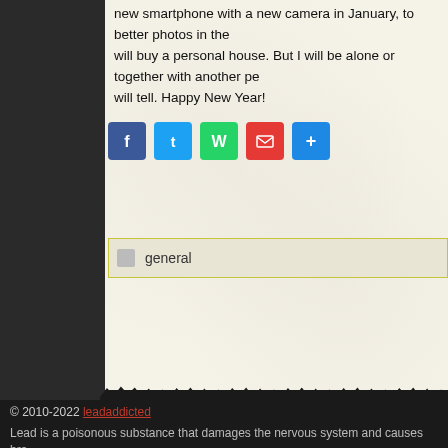new smartphone with a new camera in January, to better photos in the will buy a personal house. But I will be alone or together with another per will tell. Happy New Year!
[Figure (infographic): Social share buttons: Facebook (blue), Twitter (blue), WhatsApp (green), Email (red), Share (blue)]
general
© 2010-2022 leadaddicted
Lead is a poisonous substance that damages the nervous system and causes bra